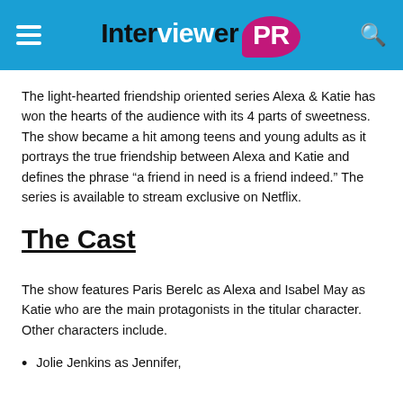Interviewer PR
The light-hearted friendship oriented series Alexa & Katie has won the hearts of the audience with its 4 parts of sweetness. The show became a hit among teens and young adults as it portrays the true friendship between Alexa and Katie and defines the phrase “a friend in need is a friend indeed.” The series is available to stream exclusive on Netflix.
The Cast
The show features Paris Berelc as Alexa and Isabel May as Katie who are the main protagonists in the titular character. Other characters include.
Jolie Jenkins as Jennifer,